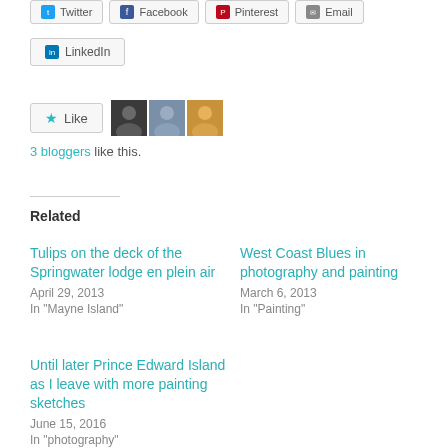[Figure (screenshot): Social sharing buttons: Twitter, Facebook, Pinterest, Email, LinkedIn]
[Figure (screenshot): Like button with star icon and three blogger avatars]
3 bloggers like this.
Related
Tulips on the deck of the Springwater lodge en plein air
April 29, 2013
In "Mayne Island"
West Coast Blues in photography and painting
March 6, 2013
In "Painting"
Until later Prince Edward Island as I leave with more painting sketches
June 15, 2016
In "photography"